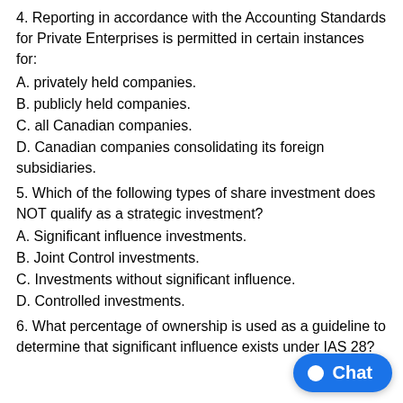4. Reporting in accordance with the Accounting Standards for Private Enterprises is permitted in certain instances for:
A. privately held companies.
B. publicly held companies.
C. all Canadian companies.
D. Canadian companies consolidating its foreign subsidiaries.
5. Which of the following types of share investment does NOT qualify as a strategic investment?
A. Significant influence investments.
B. Joint Control investments.
C. Investments without significant influence.
D. Controlled investments.
6. What percentage of ownership is used as a guideline to determine that significant influence exists under IAS 28?